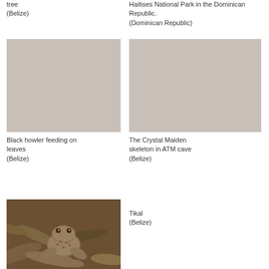tree
(Belize)
Haitises National Park in the Dominican Republic.
(Dominican Republic)
[Figure (photo): Black howler monkey feeding on leaves - placeholder image area]
Black howler feeding on leaves
(Belize)
[Figure (photo): The Crystal Maiden skeleton in ATM cave - placeholder image area]
The Crystal Maiden skeleton in ATM cave
(Belize)
[Figure (photo): Brown frog or toad camouflaged among leaf litter at Tikal]
Tikal
(Belize)